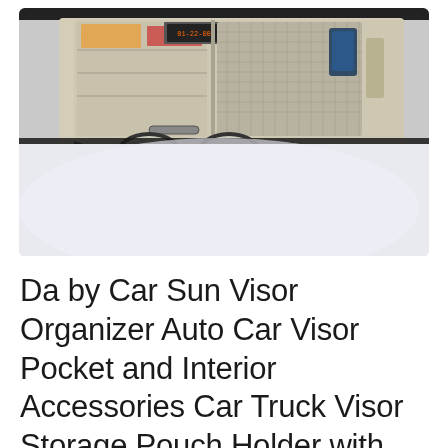[Figure (photo): Photo of a car sun visor organizer mounted on a vehicle sun visor. The beige/tan organizer has multiple pockets including a mesh/net pocket on the right side, and a pair of black glasses hanging from a clip on the left side. Cards and items are stored in the pockets. Background shows the car interior.]
Da by Car Sun Visor Organizer Auto Car Visor Pocket and Interior Accessories Car Truck Visor Storage Pouch Holder with Multi-Pocket Net Zippers